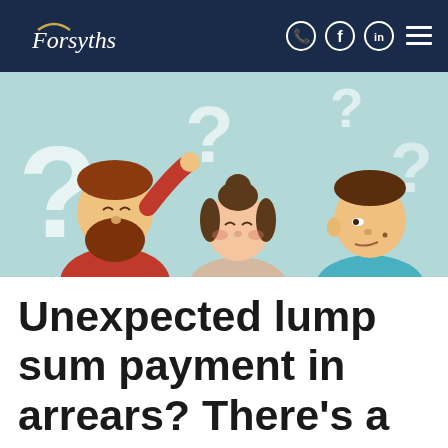Forsyths
[Figure (illustration): Cartoon illustration of three confused people with question marks around them on a light teal background. A red-haired bearded man on the left scratches his head, a woman with a bun in the middle looks puzzled, and a brown-haired man on the right looks concerned.]
Unexpected lump sum payment in arrears? There's a tax offset for that...